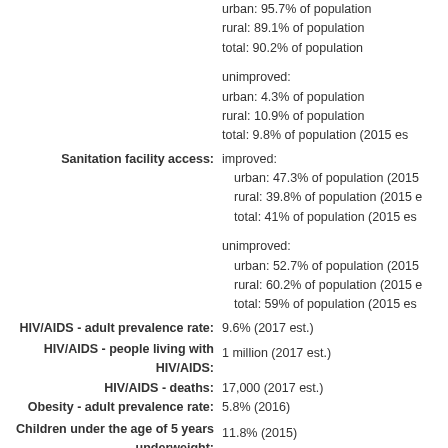urban: 95.7% of population
rural: 89.1% of population
total: 90.2% of population
unimproved:
urban: 4.3% of population
rural: 10.9% of population
total: 9.8% of population (2015 es
Sanitation facility access: improved:
urban: 47.3% of population (2015
rural: 39.8% of population (2015 e
total: 41% of population (2015 es
unimproved:
urban: 52.7% of population (2015
rural: 60.2% of population (2015 e
total: 59% of population (2015 es
HIV/AIDS - adult prevalence rate: 9.6% (2017 est.)
HIV/AIDS - people living with HIV/AIDS: 1 million (2017 est.)
HIV/AIDS - deaths: 17,000 (2017 est.)
Obesity - adult prevalence rate: 5.8% (2016)
Children under the age of 5 years underweight: 11.8% (2015)
Education expenditures: 4% of GDP (2017)
Literacy: definition: age 15 and over can re
total population: 62.1%
male: 69.8%
female: 55.2% (2015 est.)